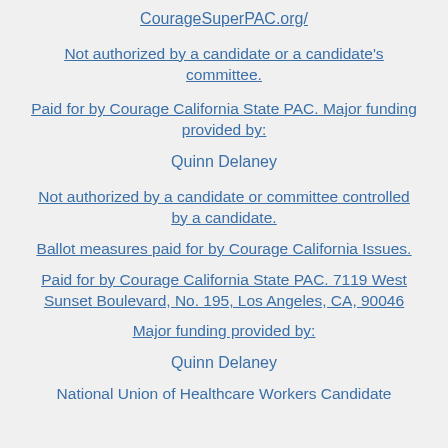CourageSuperPAC.org/
Not authorized by a candidate or a candidate's committee.
Paid for by Courage California State PAC. Major funding provided by:
Quinn Delaney
Not authorized by a candidate or committee controlled by a candidate.
Ballot measures paid for by Courage California Issues.
Paid for by Courage California State PAC. 7119 West Sunset Boulevard, No. 195, Los Angeles, CA, 90046
Major funding provided by:
Quinn Delaney
National Union of Healthcare Workers Candidate